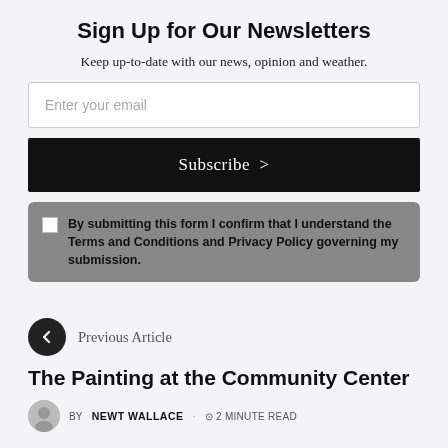Sign Up for Our Newsletters
Keep up-to-date with our news, opinion and weather.
Enter your email
Subscribe >
By submitting this form I confirm that I understand the Terms and Conditions and Privacy Policy governing my submission.
Previous Article
The Painting at the Community Center
BY NEWT WALLACE · 2 MINUTE READ